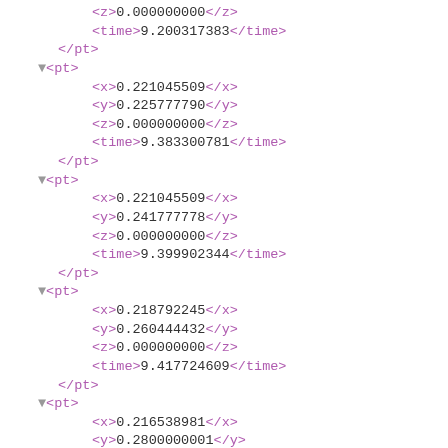<z>0.000000000</z>
<time>9.200317383</time>
</pt>
▼<pt>
  <x>0.221045509</x>
  <y>0.225777790</y>
  <z>0.000000000</z>
  <time>9.383300781</time>
</pt>
▼<pt>
  <x>0.221045509</x>
  <y>0.241777778</y>
  <z>0.000000000</z>
  <time>9.399902344</time>
</pt>
▼<pt>
  <x>0.218792245</x>
  <y>0.260444432</y>
  <z>0.000000000</z>
  <time>9.417724609</time>
</pt>
▼<pt>
  <x>0.216538981</x>
  <y>0.2800000001</y>
  <z>0.000000000</z>
  <time>9.436157227</time>
</pt>
▼<pt>
  <x>0.214285716</x>
  <y>0.299555570</y>